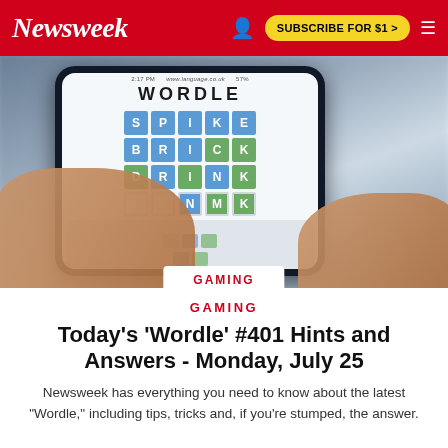Newsweek | SUBSCRIBE FOR $1 >
[Figure (photo): Hands holding a smartphone displaying the Wordle game with colored letter tiles spelling SPIKE, BRICK, DRINK and partial fourth row]
GAMING
Today's 'Wordle' #401 Hints and Answers - Monday, July 25
Newsweek has everything you need to know about the latest "Wordle," including tips, tricks and, if you're stumped, the answer.